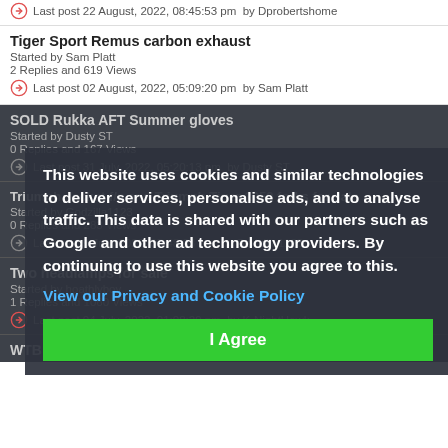0 Replies and 51 Views
Last post 22 August, 2022, 08:45:53 pm  by Dprobertshome
Tiger Sport Remus carbon exhaust
Started by Sam Platt
2 Replies and 619 Views
Last post 02 August, 2022, 05:09:20 pm  by Sam Platt
SOLD Rukka AFT Summer gloves
Started by Dusty ST
0 Replies and 167 Views
Last post 31 July, 2022, 05:20:13 pm  by Dusty ST
Triumph Jacket f/s and Triumph Tiger 1050 forks for sale
Started by Godzilla1123
0 Replies and 283 Views
Last post 9 July, 2022, 05:48:08 pm  by Godzilla1123
Two headlamps for sale
Started by hoathlyboy
1 Replies and 1060 Views
Last post 04 July, 2022, 01:08:29 pm  by K-NightHawk
WTB Left Tank Cover Scorched Yellow
This website uses cookies and similar technologies to deliver services, personalise ads, and to analyse traffic. This data is shared with our partners such as Google and other ad technology providers. By continuing to use this website you agree to this.
View our Privacy and Cookie Policy
I Agree